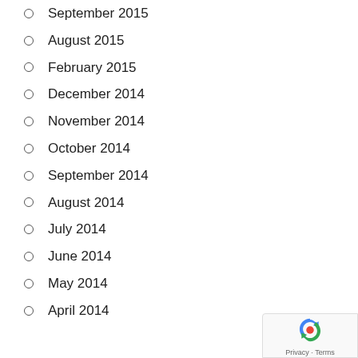September 2015
August 2015
February 2015
December 2014
November 2014
October 2014
September 2014
August 2014
July 2014
June 2014
May 2014
April 2014